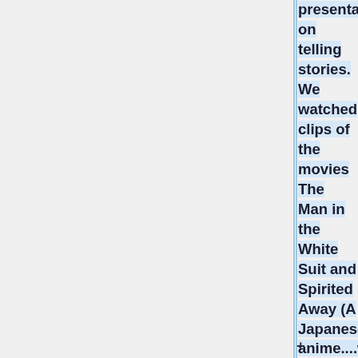presentation on telling stories. We watched clips of the movies The Man in the White Suit and Spirited Away (A Japanese anime....which was very interesting). We also looked at Polish film posters. Generally film posters aim at easy readability, and a sort of in your face message, but these posters were abstract,